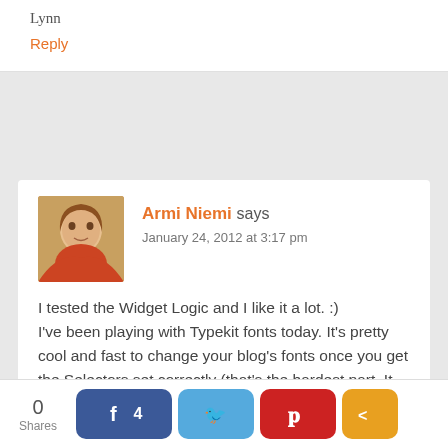Lynn
Reply
Armi Niemi says
January 24, 2012 at 3:17 pm
I tested the Widget Logic and I like it a lot. :)
I've been playing with Typekit fonts today. It's pretty cool and fast to change your blog's fonts once you get the Selectors set correctly (that's the hardest part. It took me 5 hours to finally get some new fonts showing).
Reply
0
Shares